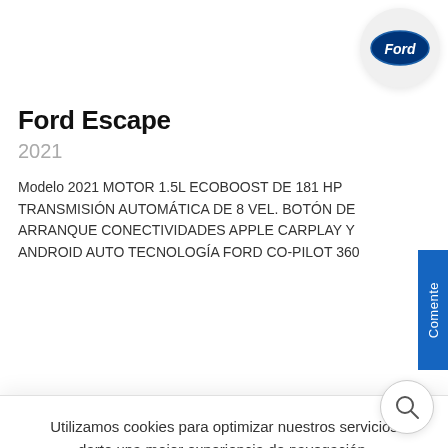[Figure (photo): Ford Escape car image (partial bottom of vehicle visible) with Ford oval logo in white circle top right]
Ford Escape
2021
Modelo 2021 MOTOR 1.5L ECOBOOST DE 181 HP TRANSMISIÓN AUTOMÁTICA DE 8 VEL. BOTÓN DE ARRANQUE CONECTIVIDADES APPLE CARPLAY Y ANDROID AUTO TECNOLOGÍA FORD CO-PILOT 360
Utilizamos cookies para optimizar nuestros servicios darte una mejor experiencia de navegación.
Ok